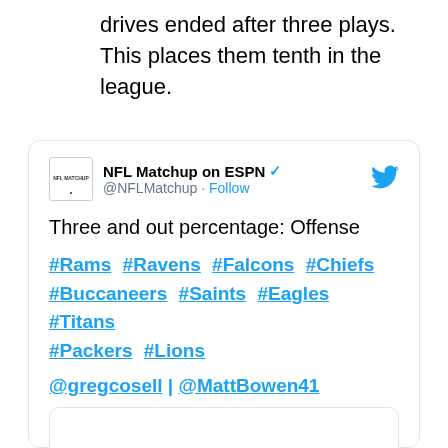drives ended after three plays. This places them tenth in the league.
[Figure (screenshot): Embedded tweet from @NFLMatchup (NFL Matchup on ESPN) with verified badge. Tweet text: 'Three and out percentage: Offense' followed by hashtags #Rams #Ravens #Falcons #Chiefs #Buccaneers #Saints #Eagles #Titans #Packers #Lions and mentions @gregcosell | @MattBowen41. Contains an inner embedded card at the bottom.]